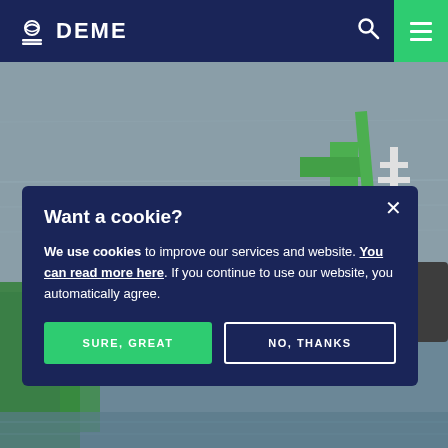DEME
[Figure (photo): Aerial/side view of a green dredging vessel or offshore construction ship on grey water]
Want a cookie?
We use cookies to improve our services and website. You can read more here. If you continue to use our website, you automatically agree.
SURE, GREAT
NO, THANKS